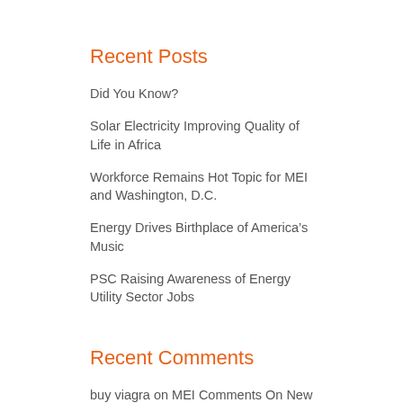Recent Posts
Did You Know?
Solar Electricity Improving Quality of Life in Africa
Workforce Remains Hot Topic for MEI and Washington, D.C.
Energy Drives Birthplace of America's Music
PSC Raising Awareness of Energy Utility Sector Jobs
Recent Comments
buy viagra on MEI Comments On New PSC Regulatory Program